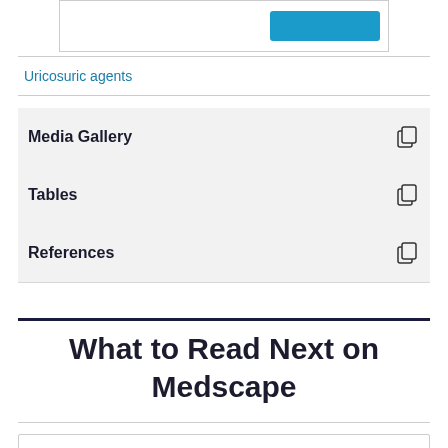[Figure (screenshot): Top partial UI box with a blue button on the right side]
Uricosuric agents
Media Gallery
Tables
References
What to Read Next on Medscape